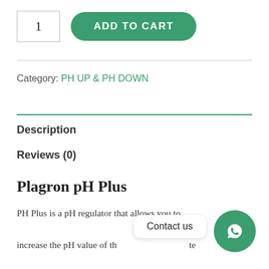1
ADD TO CART
Category: PH UP & PH DOWN
Description
Reviews (0)
Plagron pH Plus
PH Plus is a pH regulator that allows you to increase the pH value of th[e nutrient solution to the] te[mperature-] ideal level of 5.5 – 6.5.
Contact us